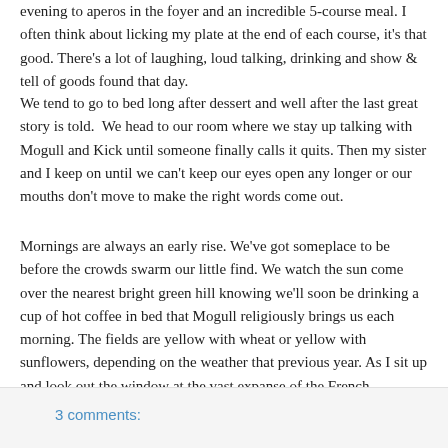evening to aperos in the foyer and an incredible 5-course meal. I often think about licking my plate at the end of each course, it's that good. There's a lot of laughing, loud talking, drinking and show & tell of goods found that day.
We tend to go to bed long after dessert and well after the last great story is told. We head to our room where we stay up talking with Mogull and Kick until someone finally calls it quits. Then my sister and I keep on until we can't keep our eyes open any longer or our mouths don't move to make the right words come out.
Mornings are always an early rise. We've got someplace to be before the crowds swarm our little find. We watch the sun come over the nearest bright green hill knowing we'll soon be drinking a cup of hot coffee in bed that Mogull religiously brings us each morning. The fields are yellow with wheat or yellow with sunflowers, depending on the weather that previous year. As I sit up and look out the window at the vast expanse of the French countryside, almost instantly the perfectly delicate swallows dive down from their eve-side nests and start to dance with each other in the sky. I've tried to capture it on video, I've tried to catch it with a still shot, but ultimately, I just remember the birds.
3 comments: